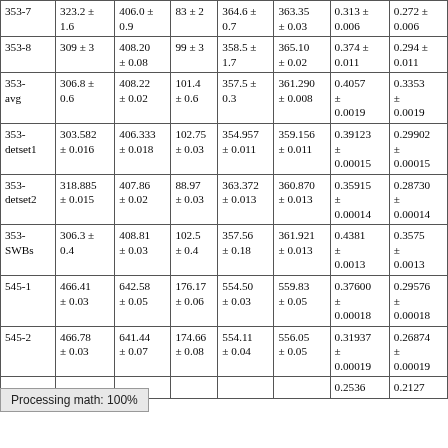| 353-7 | 323.2 ± 1.6 | 406.0 ± 0.9 | 83 ± 2 | 364.6 ± 0.7 | 363.35 ± 0.03 | 0.313 ± 0.006 | 0.272 ± 0.006 |
| 353-8 | 309 ± 3 | 408.20 ± 0.08 | 99 ± 3 | 358.5 ± 1.7 | 365.10 ± 0.02 | 0.374 ± 0.011 | 0.294 ± 0.011 |
| 353-avg | 306.8 ± 0.6 | 408.22 ± 0.02 | 101.4 ± 0.6 | 357.5 ± 0.3 | 361.290 ± 0.008 | 0.4057 ± 0.0019 | 0.3353 ± 0.0019 |
| 353-detset1 | 303.582 ± 0.016 | 406.333 ± 0.018 | 102.75 ± 0.03 | 354.957 ± 0.011 | 359.156 ± 0.011 | 0.39123 ± 0.00015 | 0.29902 ± 0.00015 |
| 353-detset2 | 318.885 ± 0.015 | 407.86 ± 0.02 | 88.97 ± 0.03 | 363.372 ± 0.013 | 360.870 ± 0.013 | 0.35915 ± 0.00014 | 0.28730 ± 0.00014 |
| 353-SWBs | 306.3 ± 0.4 | 408.81 ± 0.03 | 102.5 ± 0.4 | 357.56 ± 0.18 | 361.921 ± 0.013 | 0.4381 ± 0.0013 | 0.3575 ± 0.0013 |
| 545-1 | 466.41 ± 0.03 | 642.58 ± 0.05 | 176.17 ± 0.06 | 554.50 ± 0.03 | 559.83 ± 0.05 | 0.37600 ± 0.00018 | 0.29576 ± 0.00018 |
| 545-2 | 466.78 ± 0.03 | 641.44 ± 0.07 | 174.66 ± 0.08 | 554.11 ± 0.04 | 556.05 ± 0.05 | 0.31937 ± 0.00019 | 0.26874 ± 0.00019 |
| … |  |  |  |  |  | 0.2536 | 0.2127 |
Processing math: 100%